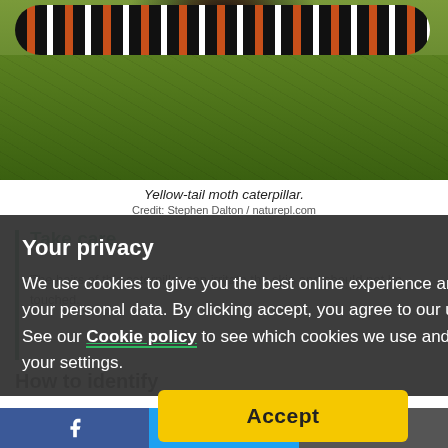[Figure (photo): Close-up photograph of a yellow-tail moth caterpillar on a green leaf. The caterpillar has distinctive black and orange/red segments with white and black spiky hairs.]
Yellow-tail moth caterpillar.
Credit: Stephen Dalton / naturepl.com
Take care
The hairs of this caterpillar can irritate the skin and should not be touched.
[Figure (screenshot): Privacy/cookie consent overlay dialog with dark background. Contains title 'Your privacy', explanatory text about cookie use, a Cookie policy link, and an Accept button in yellow.]
How to identify
Look for the dis... stripe along the back and
Facebook share | Twitter share | Email share